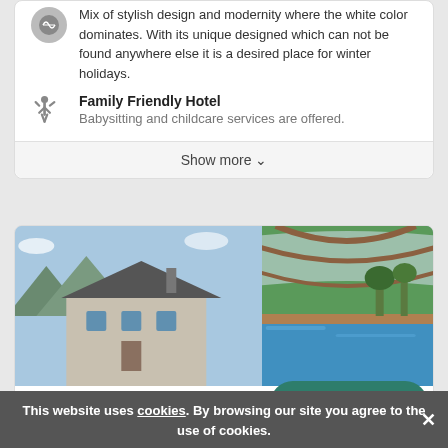Mix of stylish design and modernity where the white color dominates. With its unique designed which can not be found anywhere else it is a desired place for winter holidays.
Family Friendly Hotel
Babysitting and childcare services are offered.
Show more
[Figure (photo): Two hotel photos side by side: left shows a chalet-style building with mountains in background, right shows an indoor/outdoor swimming pool with glass enclosure and green trees behind.]
Auberge de l'Or
Categories 1
This website uses cookies. By browsing our site you agree to the use of cookies.